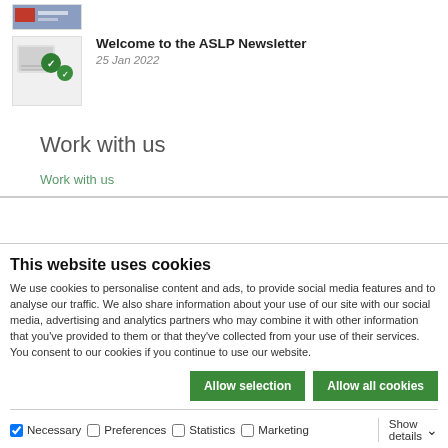[Figure (photo): Small thumbnail image at top, partially visible, appears to be a banner/news image]
[Figure (photo): Thumbnail image of laptop with green icons for ASLP Newsletter article]
Welcome to the ASLP Newsletter
25 Jan 2022
Work with us
Work with us
This website uses cookies
We use cookies to personalise content and ads, to provide social media features and to analyse our traffic. We also share information about your use of our site with our social media, advertising and analytics partners who may combine it with other information that you've provided to them or that they've collected from your use of their services. You consent to our cookies if you continue to use our website.
Allow selection | Allow all cookies | Necessary | Preferences | Statistics | Marketing | Show details